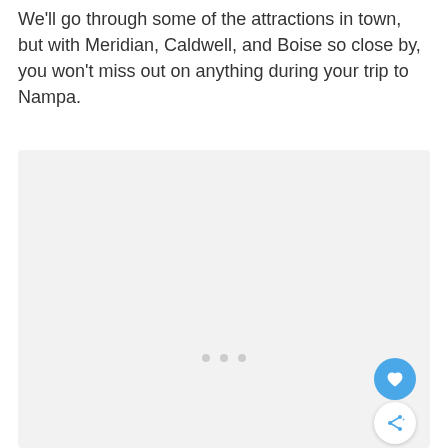We'll go through some of the attractions in town, but with Meridian, Caldwell, and Boise so close by, you won't miss out on anything during your trip to Nampa.
[Figure (photo): A large light gray placeholder image box with three small gray dots at the bottom center, a blue circular heart/favorite button on the lower right, and a white circular share button below it.]